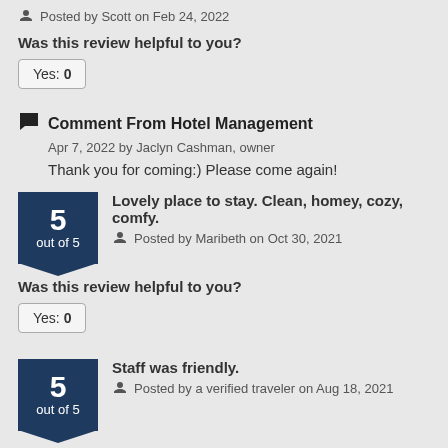Posted by Scott on Feb 24, 2022
Was this review helpful to you?
Yes: 0
Comment From Hotel Management
Apr 7, 2022 by Jaclyn Cashman, owner
Thank you for coming:) Please come again!
5 out of 5
Lovely place to stay. Clean, homey, cozy, comfy.
Posted by Maribeth on Oct 30, 2021
Was this review helpful to you?
Yes: 0
5 out of 5
Staff was friendly.
Posted by a verified traveler on Aug 18, 2021
Was this review helpful to you?
Yes: 0